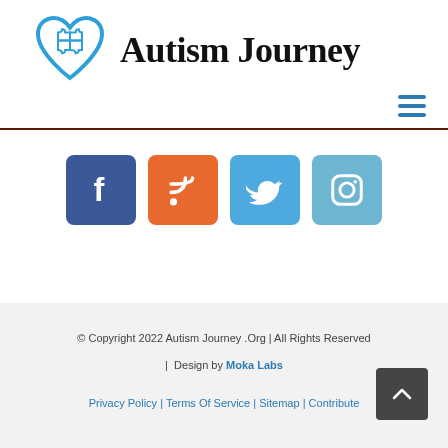[Figure (logo): Autism Journey logo with a blue heart containing puzzle piece design and site name 'Autism Journey' in bold serif font]
[Figure (infographic): Four social media icon buttons: Facebook (dark blue), RSS (orange), Twitter (light blue), Instagram (light blue-gray)]
© Copyright 2022 Autism Journey .Org | All Rights Reserved | Design by Moka Labs Privacy Policy | Terms Of Service | Sitemap | Contribute